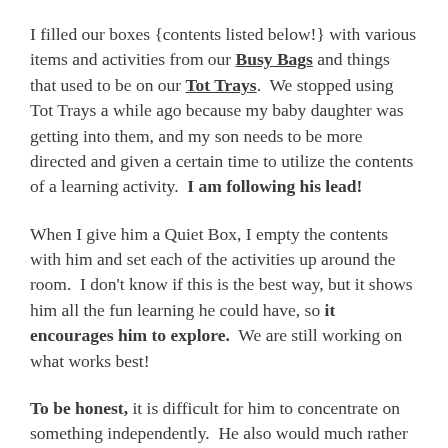I filled our boxes {contents listed below!} with various items and activities from our Busy Bags and things that used to be on our Tot Trays. We stopped using Tot Trays a while ago because my baby daughter was getting into them, and my son needs to be more directed and given a certain time to utilize the contents of a learning activity. I am following his lead!
When I give him a Quiet Box, I empty the contents with him and set each of the activities up around the room. I don't know if this is the best way, but it shows him all the fun learning he could have, so it encourages him to explore. We are still working on what works best!
To be honest, it is difficult for him to concentrate on something independently. He also would much rather be playing with a truck or swinging a sword than doing a learning activity. But! If I am sitting down with him, he will get excited and can be very engaged